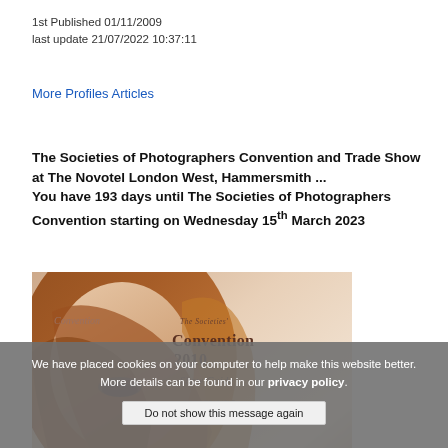1st Published 01/11/2009
last update 21/07/2022 10:37:11
More Profiles Articles
The Societies of Photographers Convention and Trade Show at The Novotel London West, Hammersmith ...
You have 193 days until The Societies of Photographers Convention starting on Wednesday 15th March 2023
[Figure (photo): Cover of The Societies' Convention 2010 Show Guide featuring a young woman with long auburn hair looking down, with text overlay reading 'THE SOCIETIES' CONVENTION 2010 SHOW GUIDE']
We have placed cookies on your computer to help make this website better. More details can be found in our privacy policy.
Do not show this message again